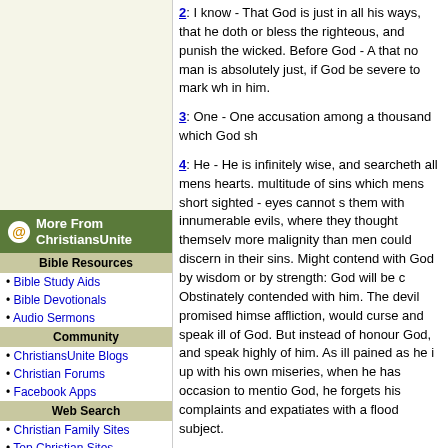2: I know - That God is just in all his ways, that he doth order things to bless the righteous, and punish the wicked. Before God - A. that no man is absolutely just, if God be severe to mark what is in him.
3: One - One accusation among a thousand which God sh
4: He - He is infinitely wise, and searcheth all mens hearts. multitude of sins which mens short sighted - eyes cannot s them with innumerable evils, where they thought themselv more malignity than men could discern in their sins. Might contend with God by wisdom or by strength: God will be c Obstinately contended with him. The devil promised himse affliction, would curse and speak ill of God. But instead of honour God, and speak highly of him. As ill pained as he is up with his own miseries, when he has occasion to mentio God, he forgets his complaints and expatiates with a flood subject.
5: Who - He proceeds to give evidence of the Divine powe Suddenly and unexpectedly. They - The mountains, to wh knowledge figuratively. In anger - In token of his displeasur them.
6: The earth - Great portions of it, by earthquakes, or by r deep and inward parts of it, which like pillars supported th view.
8: Who. &c. - A farther description of a black and tempestu heavens seem to be brought down nearer to the earth. Tre ruleth them when they rage and are tempestuous: for trea in scripture using power and dominion over it.
[Figure (other): Sidebar navigation for ChristiansUnite website with logo, Bible Resources, Community, Web Search, Family Life, Shop, and Read sections]
More From ChristiansUnite
Bible Resources
Bible Study Aids
Bible Devotionals
Audio Sermons
Community
ChristiansUnite Blogs
Christian Forums
Facebook Apps
Web Search
Christian Family Sites
Top Christian Sites
Christian RSS Feeds
Family Life
Christian Finance
ChristiansUnite KIDS
Shop
Christian Magazines
Christian Book Store
Read
Christian News
Christian Columns
Christian Song Lyrics